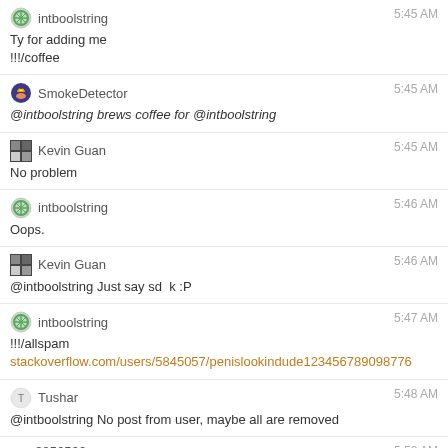intboolstring 5:45 AM
Ty for adding me
!!!/coffee
SmokeDetector 5:45 AM
@intboolstring brews coffee for @intboolstring
Kevin Guan 5:45 AM
No problem
intboolstring 5:46 AM
Oops.
Kevin Guan 5:46 AM
@intboolstring Just say sd  k :P
intboolstring 5:47 AM
!!!/allspam stackoverflow.com/users/5845057/penislookindude123456789098776
Tushar 5:48 AM
@intboolstring No post from user, maybe all are removed
user3956566 5:52 AM
I flagged one of my posts with a custom flag for this user's profile
user3956566 5:52 AM
as they have no posts or comments to flag